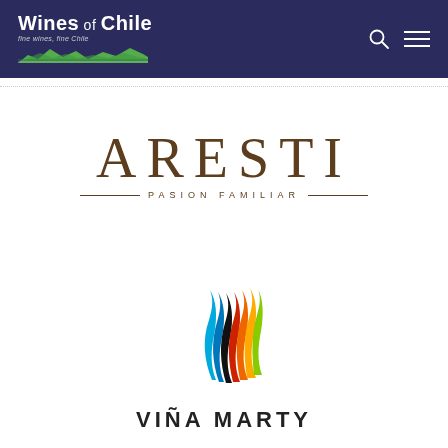[Figure (logo): Wines of Chile logo with mountain landscape graphic, white text on dark navy background, tagline 'fine wines, fine Chile' in italic]
[Figure (logo): Aresti winery logo: large serif text 'ARESTI' in brown/dark gold color, below it 'PASION FAMILIAR' in small spaced caps with horizontal rules on either side]
[Figure (logo): Viña Marty logo: colorful flowing flame/wave graphic in cyan, black, red, orange, yellow and green, with text 'VIÑA MARTY' below in bold spaced capitals]